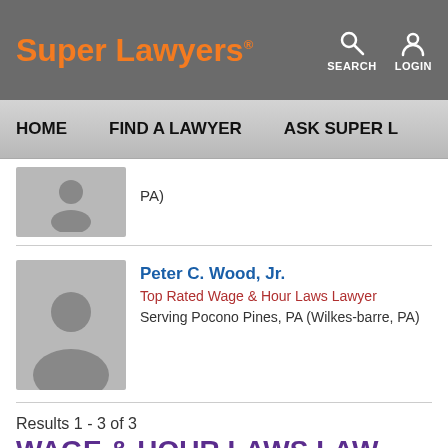Super Lawyers | SEARCH | LOGIN
HOME | FIND A LAWYER | ASK SUPER L...
PA)
Peter C. Wood, Jr.
Top Rated Wage & Hour Laws Lawyer
Serving Pocono Pines, PA (Wilkes-barre, PA)
Results 1 - 3 of 3
WAGE & HOUR LAWS LAW
Federal and state wage and hour laws establish the amount of hours an employee can work per day and what the rate of pay is for overtime or working on weekends or holidays.